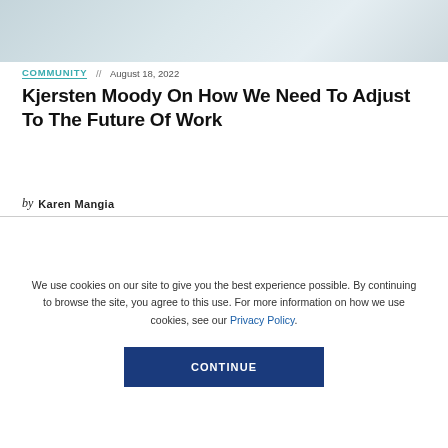[Figure (photo): Cropped photo of a person, blurred/partial view, light tones of white and blue-grey]
COMMUNITY // August 18, 2022
Kjersten Moody On How We Need To Adjust To The Future Of Work
by Karen Mangia
We use cookies on our site to give you the best experience possible. By continuing to browse the site, you agree to this use. For more information on how we use cookies, see our Privacy Policy.
CONTINUE